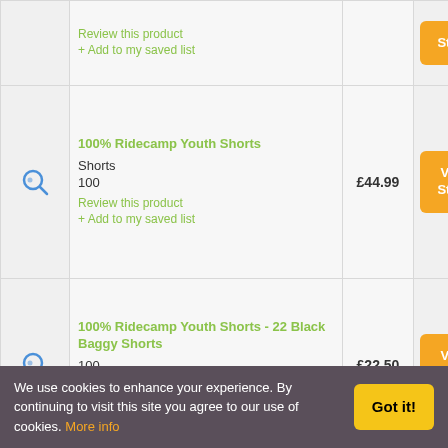| Image | Product | Price | Action |
| --- | --- | --- | --- |
| [search icon] | Review this product
+ Add to my saved list | [partial] | Store |
| [search icon] | 100% Ridecamp Youth Shorts
Shorts
100
Review this product
+ Add to my saved list | £44.99 | Visit Store |
| [search icon] | 100% Ridecamp Youth Shorts - 22 Black Baggy Shorts
100
Review this product
+ Add to my saved list | £22.50 | Visit Store |
We use cookies to enhance your experience. By continuing to visit this site you agree to our use of cookies. More info